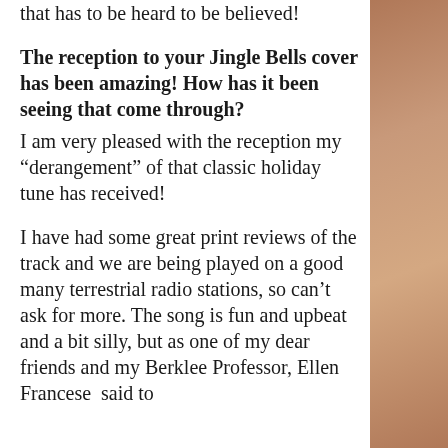that has to be heard to be believed!
The reception to your Jingle Bells cover has been amazing! How has it been seeing that come through? I am very pleased with the reception my “derangement” of that classic holiday tune has received!
I have had some great print reviews of the track and we are being played on a good many terrestrial radio stations, so can’t ask for more. The song is fun and upbeat and a bit silly, but as one of my dear friends and my Berklee Professor, Ellen Francese  said to